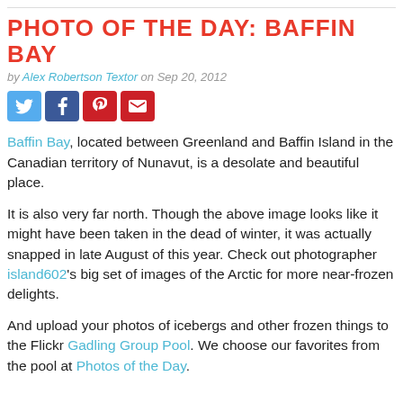PHOTO OF THE DAY: BAFFIN BAY
by Alex Robertson Textor on Sep 20, 2012
[Figure (infographic): Social sharing buttons: Twitter, Facebook, Pinterest, Email]
Baffin Bay, located between Greenland and Baffin Island in the Canadian territory of Nunavut, is a desolate and beautiful place.
It is also very far north. Though the above image looks like it might have been taken in the dead of winter, it was actually snapped in late August of this year. Check out photographer island602's big set of images of the Arctic for more near-frozen delights.
And upload your photos of icebergs and other frozen things to the Flickr Gadling Group Pool. We choose our favorites from the pool at Photos of the Day.